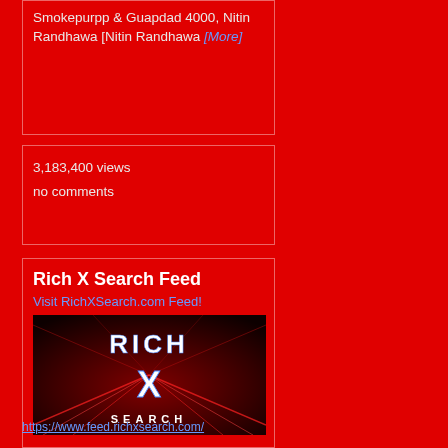Smokepurpp & Guapdad 4000, Nitin Randhawa [Nitin Randhawa [More]
3,183,400 views
no comments
Rich X Search Feed
Visit RichXSearch.com Feed!
[Figure (logo): Rich X Search logo on dark red background with glowing neon red beams and X symbol]
https://www.feed.richxsearch.com/